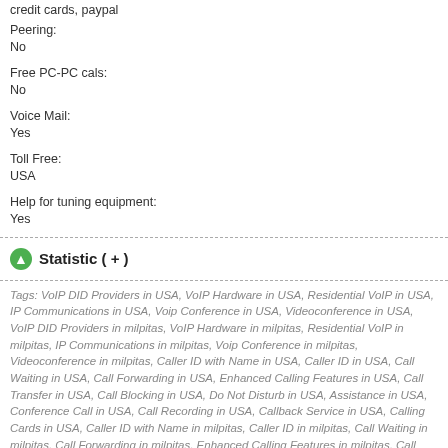credit cards, paypal
Peering:
No
Free PC-PC cals:
No
Voice Mail:
Yes
Toll Free:
USA
Help for tuning equipment:
Yes
Statistic ( + )
Tags: VoIP DID Providers in USA, VoIP Hardware in USA, Residential VoIP in USA, IP Communications in USA, Voip Conference in USA, Videoconference in USA, VoIP DID Providers in milpitas, VoIP Hardware in milpitas, Residential VoIP in milpitas, IP Communications in milpitas, Voip Conference in milpitas, Videoconference in milpitas, Caller ID with Name in USA, Caller ID in USA, Call Waiting in USA, Call Forwarding in USA, Enhanced Calling Features in USA, Call Transfer in USA, Call Blocking in USA, Do Not Disturb in USA, Assistance in USA, Conference Call in USA, Call Recording in USA, Callback Service in USA, Calling Cards in USA, Caller ID with Name in milpitas, Caller ID in milpitas, Call Waiting in milpitas, Call Forwarding in milpitas, Enhanced Calling Features in milpitas, Call Transfer in milpitas, Call Blocking in milpitas, Do Not Disturb in milpitas, Assistance in milpitas, Conference Call in milpitas, Call Recording in milpitas, Callback Service in milpitas, Calling Cards in milpitas, VoIP Providers in milpitas
voip providers in USA →